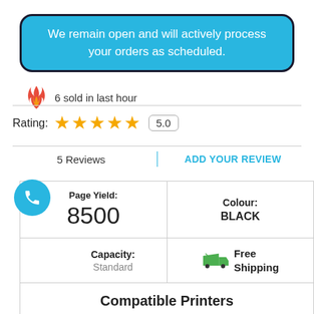We remain open and will actively process your orders as scheduled.
6 sold in last hour
Rating: ★★★★★ 5.0
5 Reviews | ADD YOUR REVIEW
| Page Yield: 8500 | Colour: BLACK |
| Capacity: Standard | Free Shipping |
Compatible Printers